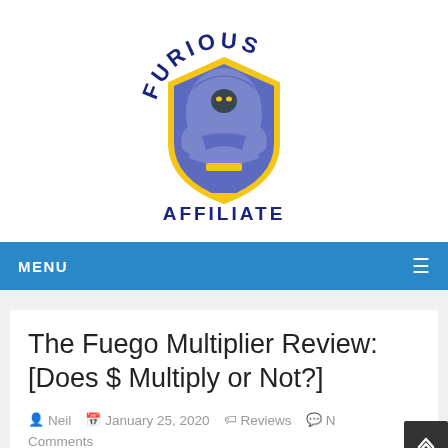[Figure (logo): Furious Affiliate logo: a hooded warrior/mascot figure with arms crossed on a shield, in purple and yellow/gold colors, with 'FURIOUS' arched above and 'AFFILIATE' below in dark navy bold text.]
MENU ≡
The Fuego Multiplier Review: [Does $ Multiply or Not?]
Neil  January 25, 2020  Reviews  No Comments